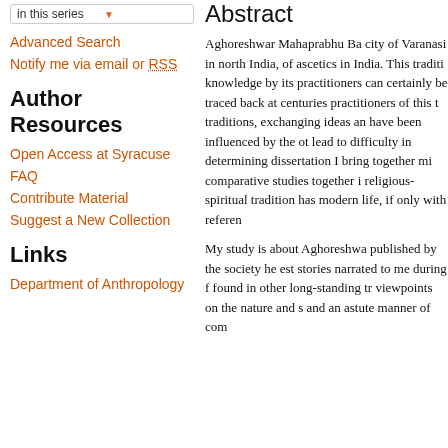in this series
Advanced Search
Notify me via email or RSS
Author Resources
Open Access at Syracuse
FAQ
Contribute Material
Suggest a New Collection
Links
Department of Anthropology
Abstract
Aghoreshwar Mahaprabhu Ba... city of Varanasi in north India, ... of ascetics in India. This traditi... knowledge by its practitioners... can certainly be traced back at... centuries practitioners of this t... traditions, exchanging ideas an... have been influenced by the ot... lead to difficulty in determining... dissertation I bring together mi... comparative studies together i... religious-spiritual tradition has... modern life, if only with referen...
My study is about Aghoreshwa... published by the society he est... stories narrated to me during f... found in other long-standing tr... viewpoints on the nature and s... and an astute manner of com...